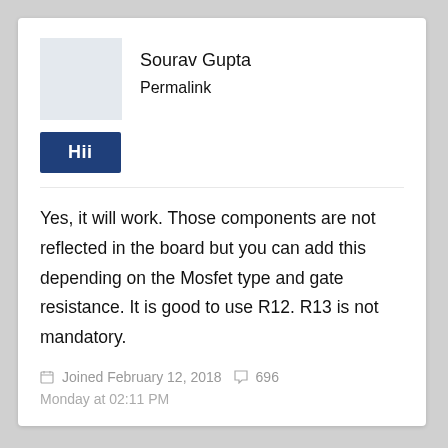Sourav Gupta
Permalink
Hii
Yes, it will work. Those components are not reflected in the board but you can add this depending on the Mosfet type and gate resistance. It is good to use R12. R13 is not mandatory.
Joined February 12, 2018   696
Monday at 02:11 PM